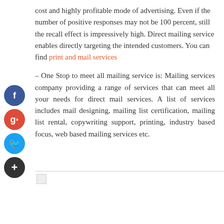cost and highly profitable mode of advertising. Even if the number of positive responses may not be 100 percent, still the recall effect is impressively high. Direct mailing service enables directly targeting the intended customers. You can find print and mail services
– One Stop to meet all mailing service is: Mailing services company providing a range of services that can meet all your needs for direct mail services. A list of services includes mail designing, mailing list certification, mailing list rental, copywriting support, printing, industry based focus, web based mailing services etc.
[Figure (other): Small broken image placeholder below horizontal divider line]